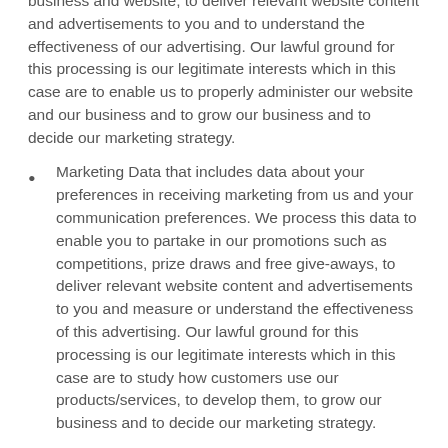business and website, to deliver relevant website content and advertisements to you and to understand the effectiveness of our advertising. Our lawful ground for this processing is our legitimate interests which in this case are to enable us to properly administer our website and our business and to grow our business and to decide our marketing strategy.
Marketing Data that includes data about your preferences in receiving marketing from us and your communication preferences. We process this data to enable you to partake in our promotions such as competitions, prize draws and free give-aways, to deliver relevant website content and advertisements to you and measure or understand the effectiveness of this advertising. Our lawful ground for this processing is our legitimate interests which in this case are to study how customers use our products/services, to develop them, to grow our business and to decide our marketing strategy.